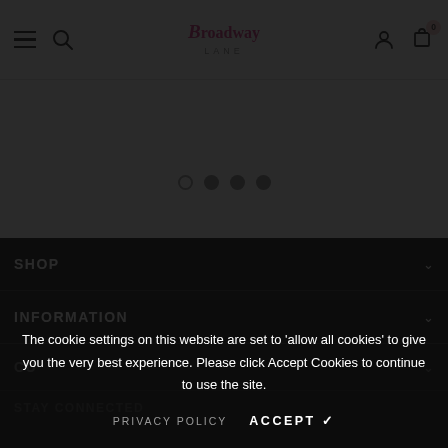Broadway Lane — website header with menu, search, logo, user icon, cart (0)
[Figure (screenshot): Carousel slider dots: one empty circle and three filled grey circles indicating slide position]
SHOP
INFORMATION
CUSTOMER SERVICE (partially visible)
STAY CONNECTED
The cookie settings on this website are set to 'allow all cookies' to give you the very best experience. Please click Accept Cookies to continue to use the site.
PRIVACY POLICY   ACCEPT ✔